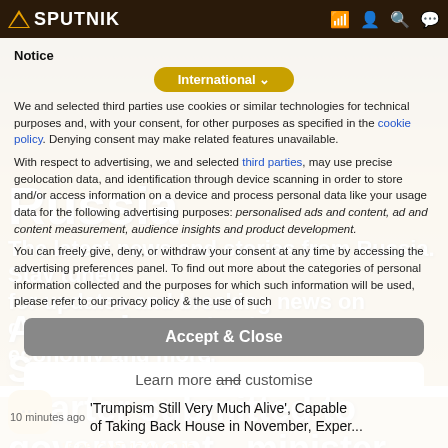SPUTNIK - International
Notice
We and selected third parties use cookies or similar technologies for technical purposes and, with your consent, for other purposes as specified in the cookie policy. Denying consent may make related features unavailable.
With respect to advertising, we and selected third parties, may use precise geolocation data, and identification through device scanning in order to store and/or access information on a device and process personal data like your usage data for the following advertising purposes: personalised ads and content, ad and content measurement, audience insights and product development.
You can freely give, deny, or withdraw your consent at any time by accessing the advertising preferences panel. To find out more about the categories of personal information collected and the purposes for which such information will be used, please refer to our privacy policy.
Russia
The latest news and stories from Russia. Stay tuned for updates and breaking news on defense, politics, economy and more.
Amendments to Svyazinvest charter submitted to government - minister
Accept & Close
Learn more and customise
15:35 GMT 17.10.2005
10 minutes ago   'Trumpism Still Very Much Alive', Capable of Taking Back House in November, Exper...